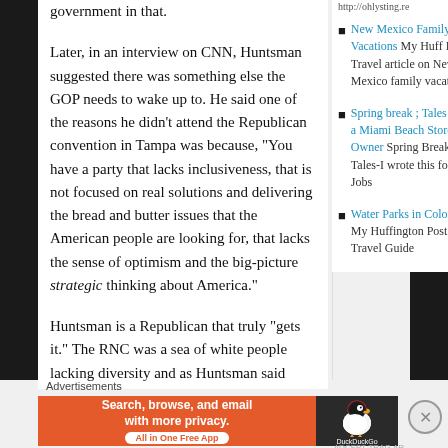government in that.
Later, in an interview on CNN, Huntsman suggested there was something else the GOP needs to wake up to. He said one of the reasons he didn’t attend the Republican convention in Tampa was because, “You have a party that lacks inclusiveness, that is not focused on real solutions and delivering the bread and butter issues that the American people are looking for, that lacks the sense of optimism and the big-picture strategic thinking about America.”
Huntsman is a Republican that truly “gets it.” The RNC was a sea of white people lacking diversity and as Huntsman said
New Mexico Family Vacations My Huff Post Travel article on New Mexico family vacations
Spring break ; Tales from a Miami Beach Store Owner Spring Break Tales-I wrote this for AOL Jobs
Water Parks in Colorado My Huffington Post Travel Guide
Advertisements
[Figure (screenshot): DuckDuckGo advertisement banner: orange background with text 'Search, browse, and email with more privacy. All in One Free App' and DuckDuckGo logo on dark background]